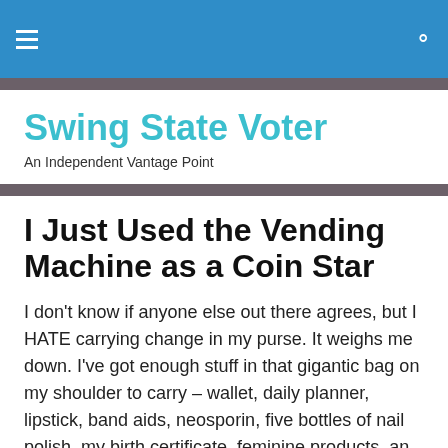Swing State Voter — navigation bar with hamburger menu and search icon
Swing State Voter
An Independent Vantage Point
I Just Used the Vending Machine as a Coin Star
I don't know if anyone else out there agrees, but I HATE carrying change in my purse. It weighs me down. I've got enough stuff in that gigantic bag on my shoulder to carry – wallet, daily planner, lipstick, band aids, neosporin, five bottles of nail polish, my birth certificate, feminine products, an extra pair of socks, file folders with ideas